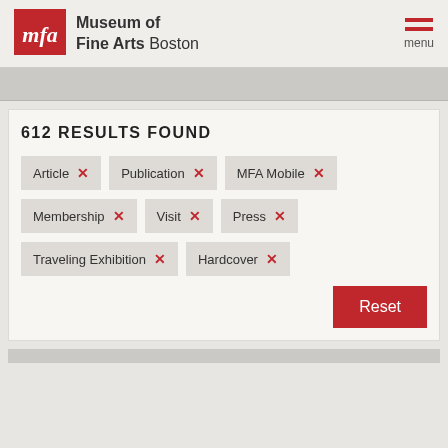[Figure (logo): Museum of Fine Arts Boston logo with red MFA square and text]
612 RESULTS FOUND
Article ×
Publication ×
MFA Mobile ×
Membership ×
Visit ×
Press ×
Traveling Exhibition ×
Hardcover ×
Reset